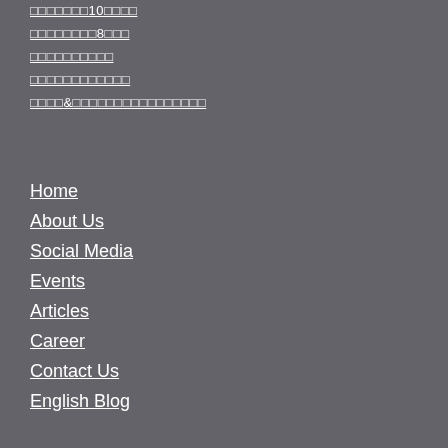□□□□□□□10□□□□
□□□□□□□□8□□□
□□□□□□□□□□
□□□□□□□□□□□□
□□□□&□□□□□□□□□□□□□□□□
Home
About Us
Social Media
Events
Articles
Career
Contact Us
English Blog